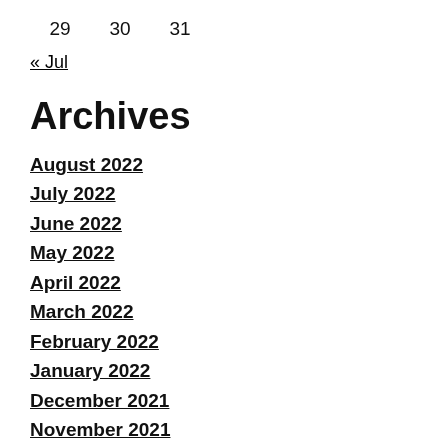29    30    31
« Jul
Archives
August 2022
July 2022
June 2022
May 2022
April 2022
March 2022
February 2022
January 2022
December 2021
November 2021
October 2021
September 2021